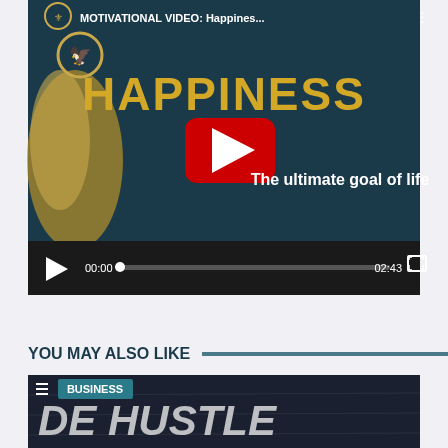[Figure (screenshot): YouTube-style video player showing a motivational video titled 'MOTIVATIONAL VIDEO: Happines...' with large gold text 'HAPPINESS' on a dark teal background, a gold phoenix logo on the left, a red YouTube play button in the center, subtitle 'The ultimate goal of life', and a video progress bar showing 00:00 / 02:43]
YOU MAY ALSO LIKE
[Figure (screenshot): Video thumbnail for a BUSINESS category video showing chalk-written text 'DE HUSTLE' on a dark blackboard background, with a hamburger menu icon and 'BUSINESS' label in a teal badge at top-left]